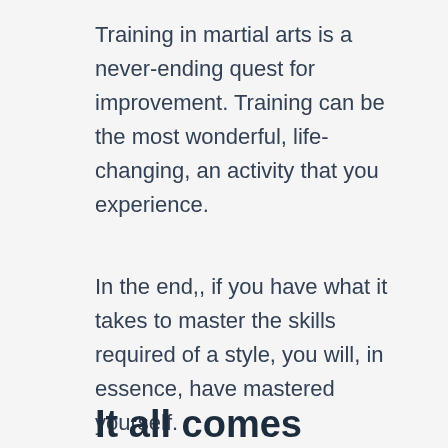Training in martial arts is a never-ending quest for improvement. Training can be the most wonderful, life-changing, an activity that you experience.
In the end,, if you have what it takes to master the skills required of a style, you will, in essence, have mastered yourself.
It all comes